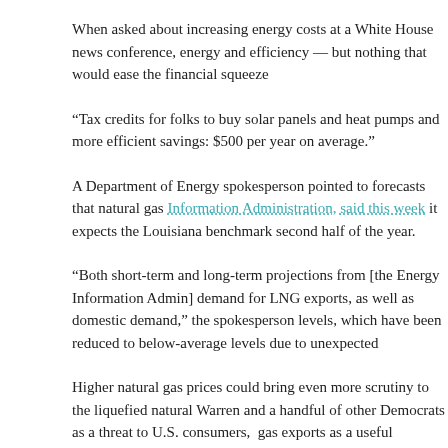When asked about increasing energy costs at a White House news confe... energy and efficiency — but nothing that would ease the financial squee...
“Tax credits for folks to buy solar panels and heat pumps and more efficie... savings: $500 per year on average.”
A Department of Energy spokesperson pointed to forecasts that natural g... Information Administration, said this week it expects the Louisiana bench... second half of the year.
“Both short-term and long-term projections from [the Energy Information A... demand for LNG exports, as well as domestic demand,” the spokesperso... levels, which have been reduced to below-average levels due to unexpec...
Higher natural gas prices could bring even more scrutiny to the liquefied ... Warren and a handful of other Democrats as a threat to U.S. consumers, ... gas exports as a useful geopolitical tool allowing the U.S. to offer Europe... strategy, with former Energy Secretary Rick Perry referring to the commo...
The amount of gas flowing to export facilities — mostly along the Gulf Co... permit in the lower 48 states in 2012. Deliveries of U.S. gas to Western E... same time last year, according to the DOE’s Energy Information Administ...